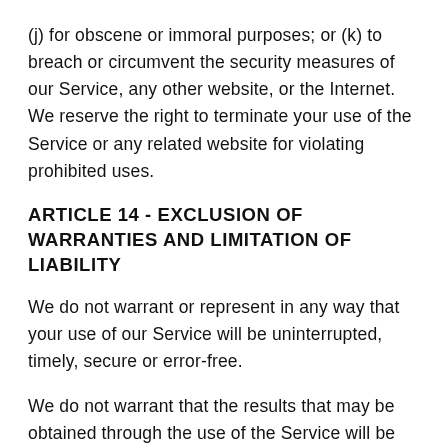(j) for obscene or immoral purposes; or (k) to breach or circumvent the security measures of our Service, any other website, or the Internet. We reserve the right to terminate your use of the Service or any related website for violating prohibited uses.
ARTICLE 14 - EXCLUSION OF WARRANTIES AND LIMITATION OF LIABILITY
We do not warrant or represent in any way that your use of our Service will be uninterrupted, timely, secure or error-free.
We do not warrant that the results that may be obtained through the use of the Service will be accurate or reliable.